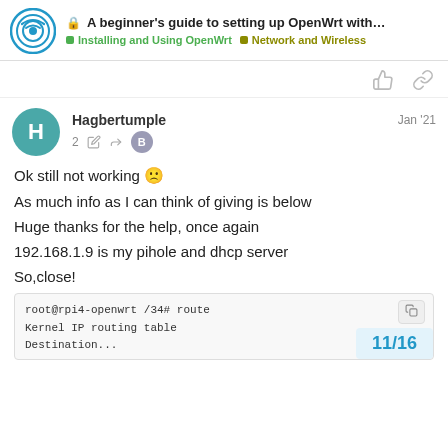A beginner's guide to setting up OpenWrt with... | Installing and Using OpenWrt | Network and Wireless
Ok still not working 🙁
As much info as I can think of giving is below
Huge thanks for the help, once again
192.168.1.9 is my pihole and dhcp server
So,close!
root@rpi4-openwrt /34# route
Kernel IP routing table
Destination...
11/16